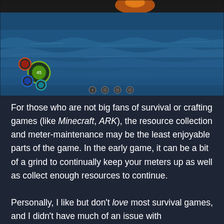[Figure (screenshot): Screenshot from the game Subnautica showing an ocean surface view with HUD elements including circular meter icons in the lower left and navigation dots along the bottom center.]
For those who are not big fans of survival or crafting games (like Minecraft, ARK), the resource collection and meter-maintenance may be the least enjoyable parts of the game. In the early game, it can be a bit of a grind to continually keep your meters up as well as collect enough resources to continue. Personally, I like but don't love most survival games, and I didn't have much of an issue with Subnautica's survival mechanics. Thankfully, as